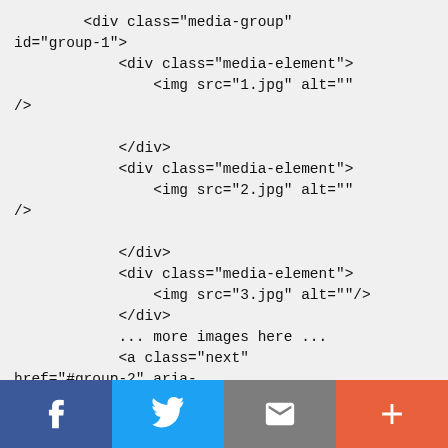<div class="media-group"
id="group-1">
        <div class="media-element">
            <img src="1.jpg" alt=""
/>

        </div>
        <div class="media-element">
            <img src="2.jpg" alt=""
/>

        </div>
        <div class="media-element">
            <img src="3.jpg" alt=""/>
        </div>
        ... more images here ...
        <a class="next"
href="#group-2" aria-
label="next">
[Figure (other): Social sharing bar with Facebook, Twitter, Email, and Plus buttons]